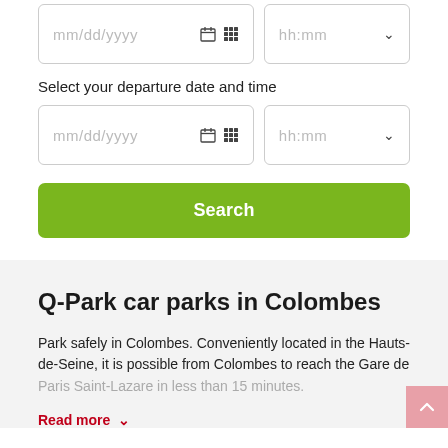[Figure (screenshot): Date input field with mm/dd/yyyy placeholder and calendar icons, and time input field with hh:mm placeholder and chevron dropdown]
Select your departure date and time
[Figure (screenshot): Date input field with mm/dd/yyyy placeholder and calendar icons, and time input field with hh:mm placeholder and chevron dropdown]
[Figure (screenshot): Green Search button]
Q-Park car parks in Colombes
Park safely in Colombes. Conveniently located in the Hauts-de-Seine, it is possible from Colombes to reach the Gare de Paris Saint-Lazare in less than 15 minutes.
Read more